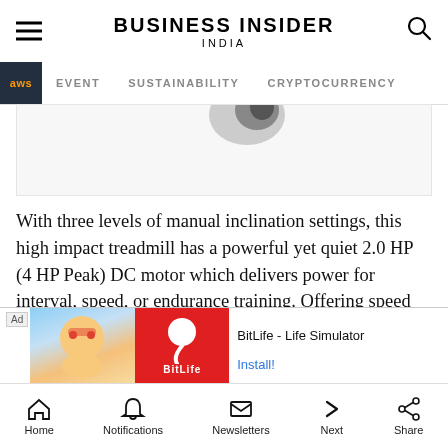BUSINESS INSIDER INDIA
EVENT  SUSTAINABILITY  CRYPTOCURRENCY
[Figure (photo): Partial view of a treadmill product image on a light grey background]
With three levels of manual inclination settings, this high impact treadmill has a powerful yet quiet 2.0 HP (4 HP Peak) DC motor which delivers power for interval, speed, or endurance training. Offering speed levels from 1 to 14 km/hr speed, the max. user weight for this machine is 110kgs. This foldable treadmill with wheels has 12 pre-set programs for efficie... ys hand t... You
[Figure (screenshot): Ad banner for BitLife - Life Simulator showing a cartoon character and red background with BitLife logo, with Install! button]
Home  Notifications  Newsletters  Next  Share